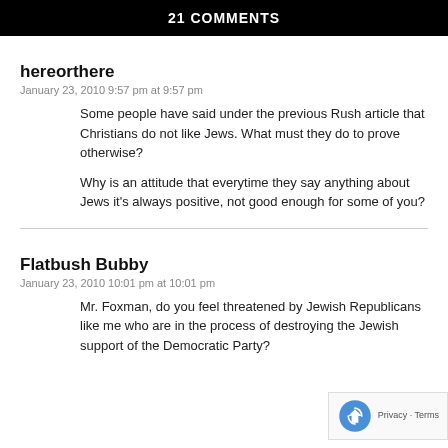21 COMMENTS
hereorthere
January 23, 2010 9:57 pm at 9:57 pm
Some people have said under the previous Rush article that Christians do not like Jews. What must they do to prove otherwise?

Why is an attitude that everytime they say anything about Jews it's always positive, not good enough for some of you?
Flatbush Bubby
January 23, 2010 10:01 pm at 10:01 pm
Mr. Foxman, do you feel threatened by Jewish Republicans like me who are in the process of destroying the Jewish support of the Democratic Party?